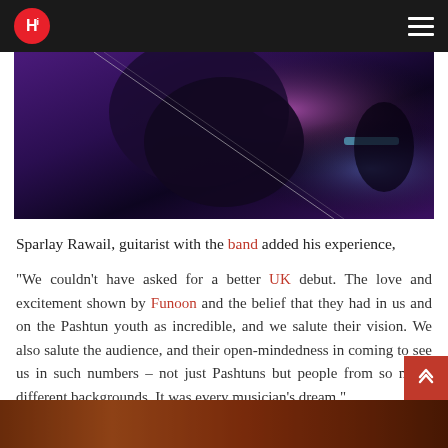Hi (logo) — hamburger menu
[Figure (photo): Close-up photo of a guitar being played under purple/pink stage lighting at a concert]
Sparlay Rawail, guitarist with the band added his experience,
"We couldn't have asked for a better UK debut. The love and excitement shown by Funoon and the belief that they had in us and on the Pashtun youth as incredible, and we salute their vision. We also salute the audience, and their open-mindedness in coming to see us in such numbers – not just Pashtuns but people from so many different backgrounds. It was every musician's dream."
[Figure (photo): Partial photo at bottom of page — appears to show a performance scene in warm tones]